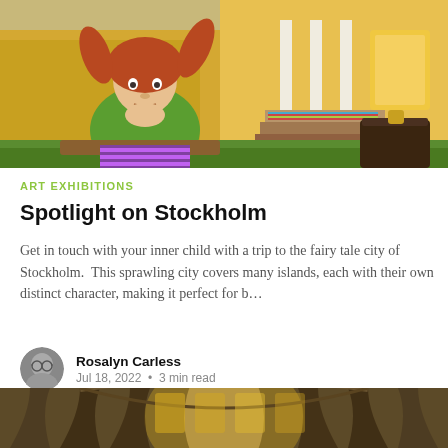[Figure (photo): Young girl dressed as Pippi Longstocking with red braids, green shirt, sitting in front of a colorful wooden house]
ART EXHIBITIONS
Spotlight on Stockholm
Get in touch with your inner child with a trip to the fairy tale city of Stockholm.  This sprawling city covers many islands, each with their own distinct character, making it perfect for b…
[Figure (photo): Author avatar - Rosalyn Carless, black and white portrait photo]
Rosalyn Carless
Jul 18, 2022 • 3 min read
[Figure (photo): Interior of a grand museum hall with arched stone architecture, ornate galleries visible in the background]